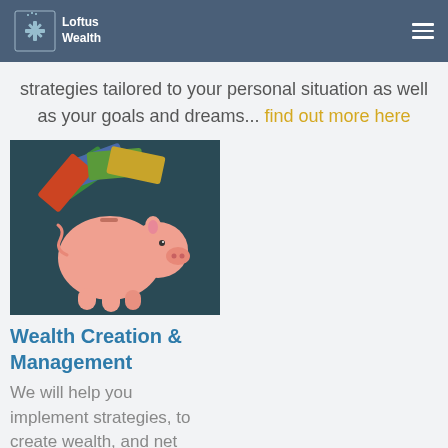Loftus Wealth
strategies tailored to your personal situation as well as your goals and dreams... find out more here
[Figure (photo): Pink piggy bank with Australian dollar banknotes fanned out from the top, against a dark teal background.]
Wealth Creation & Management
We will help you implement strategies, to create wealth, and net